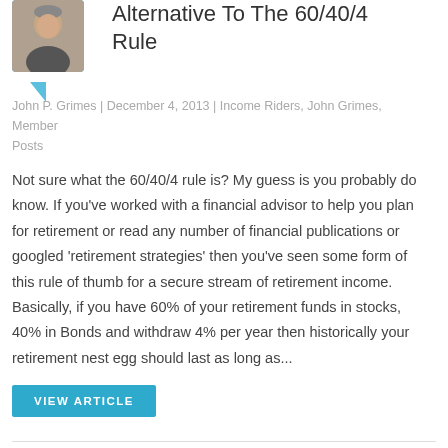[Figure (photo): Author photo of John P. Grimes in a teal speech-bubble frame]
Alternative To The 60/40/4 Rule
John P. Grimes | December 4, 2013 | Income Riders, John Grimes, Member Posts
Not sure what the 60/40/4 rule is? My guess is you probably do know. If you've worked with a financial advisor to help you plan for retirement or read any number of financial publications or googled 'retirement strategies' then you've seen some form of this rule of thumb for a secure stream of retirement income. Basically, if you have 60% of your retirement funds in stocks, 40% in Bonds and withdraw 4% per year then historically your retirement nest egg should last as long as...
VIEW ARTICLE
[Figure (photo): Author photo in a teal speech-bubble frame]
Fixed Annuity Income